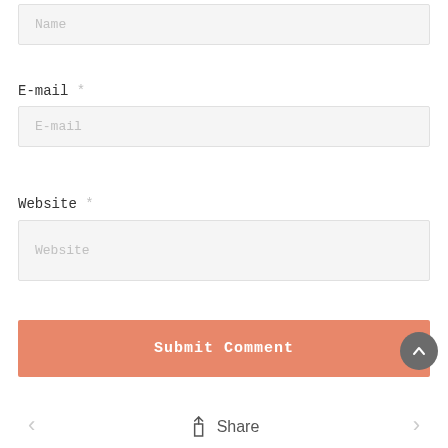Name (placeholder input field)
E-mail *
E-mail (placeholder input field)
Website *
Website (placeholder input field)
Submit Comment
Share